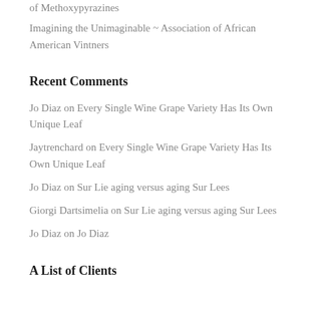of Methoxypyrazines
Imagining the Unimaginable ~ Association of African American Vintners
Recent Comments
Jo Diaz on Every Single Wine Grape Variety Has Its Own Unique Leaf
Jaytrenchard on Every Single Wine Grape Variety Has Its Own Unique Leaf
Jo Diaz on Sur Lie aging versus aging Sur Lees
Giorgi Dartsimelia on Sur Lie aging versus aging Sur Lees
Jo Diaz on Jo Diaz
A List of Clients